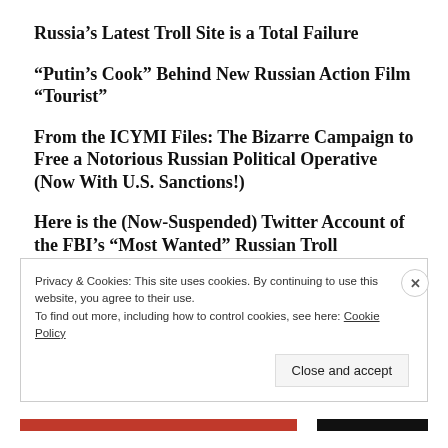Russia’s Latest Troll Site is a Total Failure
“Putin’s Cook” Behind New Russian Action Film “Tourist”
From the ICYMI Files: The Bizarre Campaign to Free a Notorious Russian Political Operative (Now With U.S. Sanctions!)
Here is the (Now-Suspended) Twitter Account of the FBI’s “Most Wanted” Russian Troll
Privacy & Cookies: This site uses cookies. By continuing to use this website, you agree to their use.
To find out more, including how to control cookies, see here: Cookie Policy
Close and accept